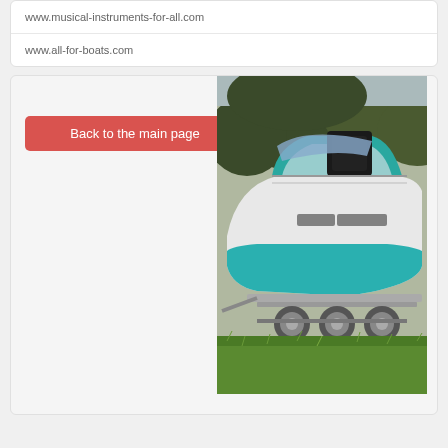www.musical-instruments-for-all.com
www.all-for-boats.com
Back to the main page
[Figure (photo): A teal and white motorboat on a trailer with trees in the background, parked on grass]